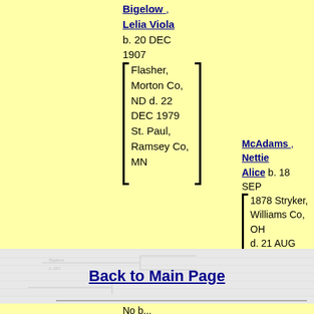Bigelow , Lelia Viola b. 20 DEC 1907 Flasher, Morton Co, ND d. 22 DEC 1979 St. Paul, Ramsey Co, MN
McAdams , Nettie Alice b. 18 SEP 1878 Stryker, Williams Co, OH d. 21 AUG 1950 Winona, Winona Co, MN
Back to Main Page
No b...